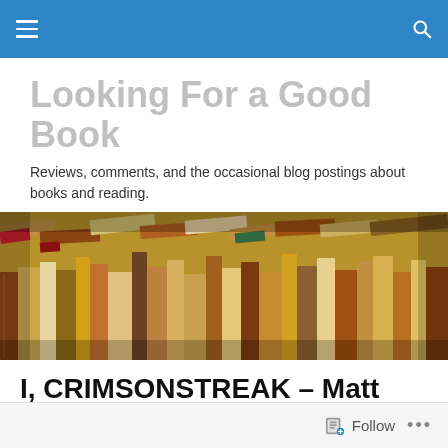Navigation bar with hamburger menu and search icon
Looking For a Good Book
Reviews, comments, and the occasional blog postings about books and reading.
[Figure (photo): A stack of colorful books viewed from the side, tightly packed together, showing their spines and pages in warm tones.]
I, CRIMSONSTREAK – Matt Adams
Follow ...